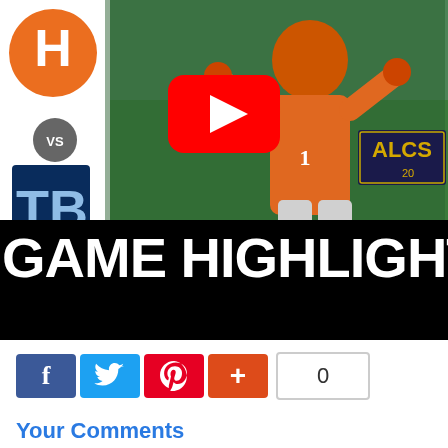[Figure (screenshot): YouTube video thumbnail showing Houston Astros player in orange jersey celebrating, with Tampa Bay Rays logo on left side, ALCS badge on right, and a red YouTube play button in center. Text overlay reads GAME HIGHLIGHTS on black bar.]
0
Your Comments